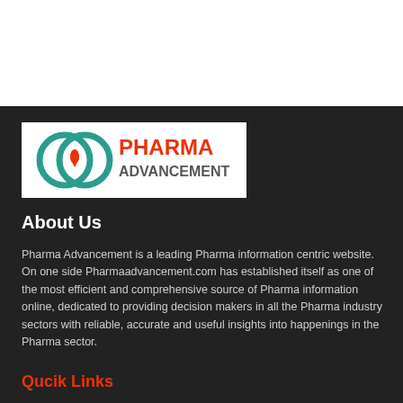[Figure (logo): Pharma Advancement logo with teal circular icon and orange/gray text on white background]
About Us
Pharma Advancement is a leading Pharma information centric website. On one side Pharmaadvancement.com has established itself as one of the most efficient and comprehensive source of Pharma information online, dedicated to providing decision makers in all the Pharma industry sectors with reliable, accurate and useful insights into happenings in the Pharma sector.
Qucik Links